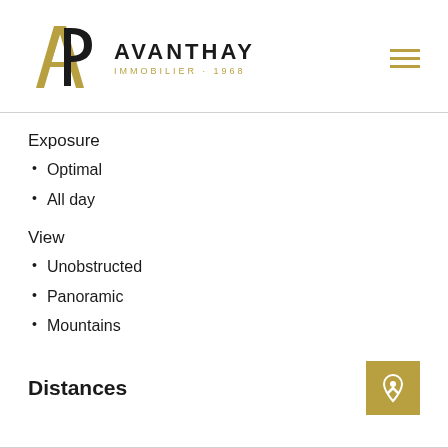[Figure (logo): Avanthay Immobilier 1968 logo with AP monogram in gold and black]
Exposure
Optimal
All day
View
Unobstructed
Panoramic
Mountains
Distances